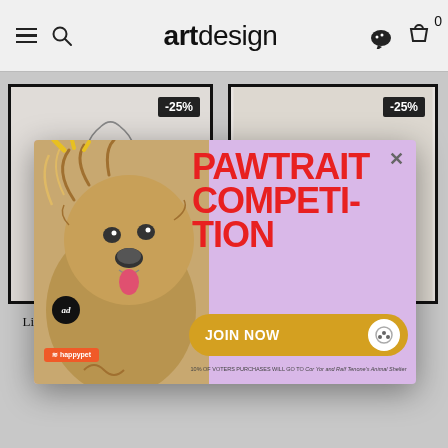artdesign
[Figure (photo): Product image: Line Art Shy Female Body Poster with -25% discount badge in black frame]
Line Art Shy Female Body Poster
₱336.75  ₱449
[Figure (photo): Product image: Brush Stroke In Canvas Poster with -25% discount badge in black frame]
Brush Stroke In Canvas Poster
₱374.25  ₱499
[Figure (photo): PAWTRAIT COMPETITION advertisement popup showing a fluffy dog on lavender background with JOIN NOW button and happypet branding. Text: PAWTRAIT COMPETITION JOIN NOW. 10% OF VOTERS PURCHASES WILL GO TO Cor Yor and Ralf Tenone's Animal Shelter]